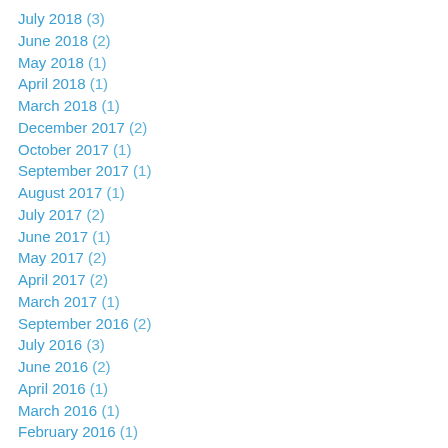July 2018 (3)
June 2018 (2)
May 2018 (1)
April 2018 (1)
March 2018 (1)
December 2017 (2)
October 2017 (1)
September 2017 (1)
August 2017 (1)
July 2017 (2)
June 2017 (1)
May 2017 (2)
April 2017 (2)
March 2017 (1)
September 2016 (2)
July 2016 (3)
June 2016 (2)
April 2016 (1)
March 2016 (1)
February 2016 (1)